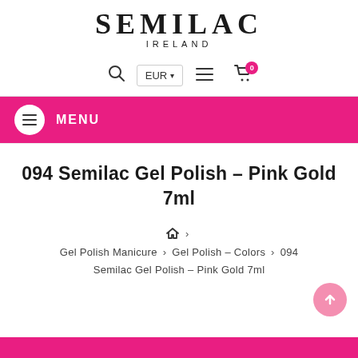[Figure (logo): Semilac Ireland logo with large bold SEMILAC text and smaller IRELAND subtitle]
[Figure (screenshot): Website toolbar with search icon, EUR currency selector, hamburger menu icon, and shopping cart icon with badge showing 0]
[Figure (screenshot): Pink menu bar with white circle hamburger icon and white MENU label]
094 Semilac Gel Polish - Pink Gold 7ml
Gel Polish Manicure > Gel Polish - Colors > 094 Semilac Gel Polish - Pink Gold 7ml